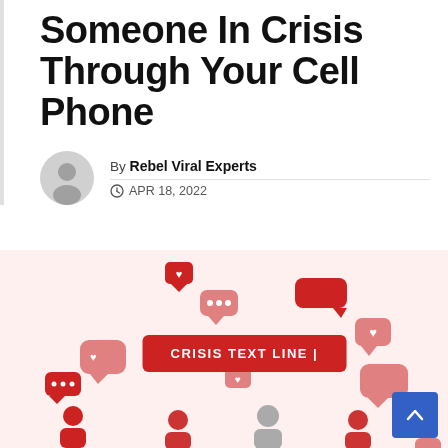Someone In Crisis Through Your Cell Phone
By Rebel Viral Experts  APR 18, 2022
[Figure (illustration): Decorative image with a light pink background showing various chat bubble icons and heart icons in red and pink shades, a red 'CRISIS TEXT LINE |' banner in the center, and partially visible cartoon figures of people at the bottom. A blue scroll-to-top button appears in the bottom right corner.]